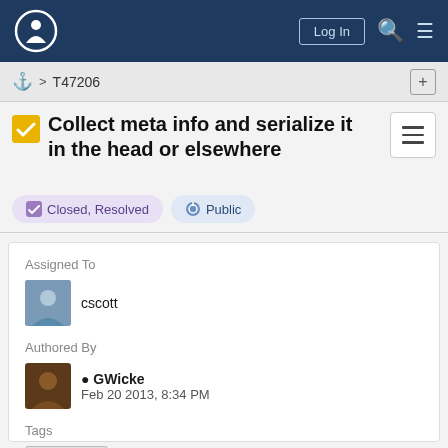Wikimedia Task Tracker - Log In
⚓ > T47206
Collect meta info and serialize it in the head or elsewhere
Closed, Resolved   Public
Assigned To
cscott
Authored By
GWicke
Feb 20 2013, 8:34 PM
Tags
Parsoid (Needs Triage)
Referenced Files